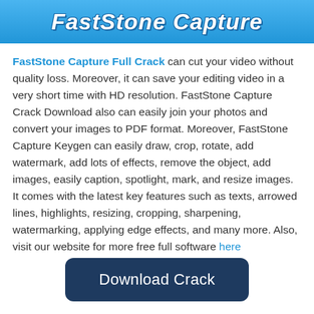[Figure (logo): Blue gradient banner with 'FastStone Capture' text in bold white italic letters with shadow effect]
FastStone Capture Full Crack can cut your video without quality loss. Moreover, it can save your editing video in a very short time with HD resolution. FastStone Capture Crack Download also can easily join your photos and convert your images to PDF format. Moreover, FastStone Capture Keygen can easily draw, crop, rotate, add watermark, add lots of effects, remove the object, add images, easily caption, spotlight, mark, and resize images. It comes with the latest key features such as texts, arrowed lines, highlights, resizing, cropping, sharpening, watermarking, applying edge effects, and many more. Also, visit our website for more free full software here
[Figure (other): Dark navy blue rounded rectangle button with white text 'Download Crack']